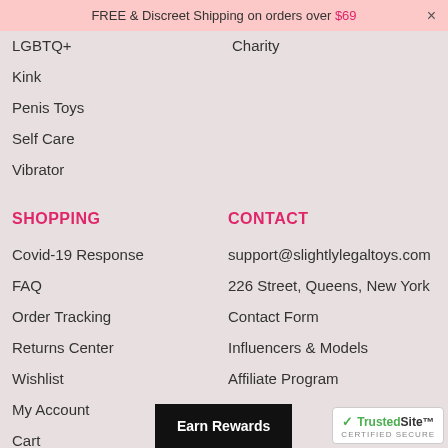FREE & Discreet Shipping on orders over $69 ×
LGBTQ+
Charity
Kink
Penis Toys
Self Care
Vibrator
SHOPPING
CONTACT
Covid-19 Response
support@slightlylegaltoys.com
FAQ
226 Street, Queens, New York
Order Tracking
Contact Form
Returns Center
Influencers & Models
Wishlist
Affiliate Program
My Account
Cart
Earn Rewards
[Figure (logo): TrustedSite Certified Secure badge with green checkmark]